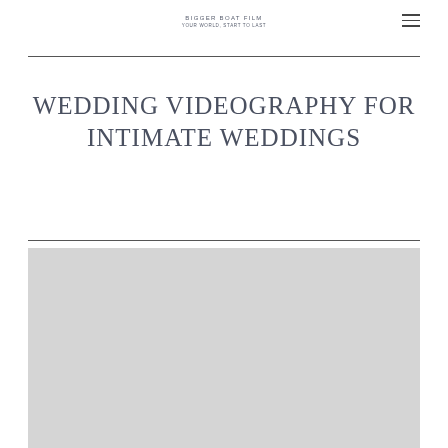BIGGER BOAT FILM
Your world, start to last
WEDDING VIDEOGRAPHY FOR INTIMATE WEDDINGS
[Figure (photo): Gray placeholder image/photo area at the bottom of the page]